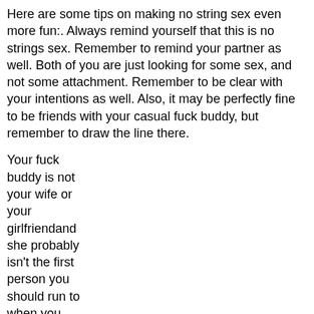Here are some tips on making no string sex even more fun:. Always remind yourself that this is no strings sex. Remember to remind your partner as well. Both of you are just looking for some sex, and not some attachment. Remember to be clear with your intentions as well. Also, it may be perfectly fine to be friends with your casual fuck buddy, but remember to draw the line there.
Your fuck buddy is not your wife or your girlfriendand she probably isn't the first person you should run to when you need to talk.